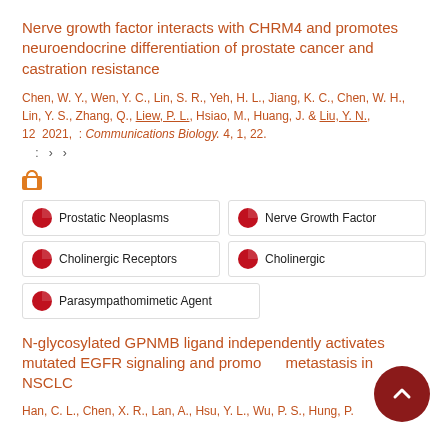Nerve growth factor interacts with CHRM4 and promotes neuroendocrine differentiation of prostate cancer and castration resistance
Chen, W. Y., Wen, Y. C., Lin, S. R., Yeh, H. L., Jiang, K. C., Chen, W. H., Lin, Y. S., Zhang, Q., Liew, P. L., Hsiao, M., Huang, J. & Liu, Y. N., 12 2021, : Communications Biology. 4, 1, 22.
Open access icon
Prostatic Neoplasms
Nerve Growth Factor
Cholinergic Receptors
Cholinergic
Parasympathomimetic Agent
N-glycosylated GPNMB ligand independently activates mutated EGFR signaling and promotes metastasis in NSCLC
Han, C. L., Chen, X. R., Lan, A., Hsu, Y. L., Wu, P. S., Hung, P.